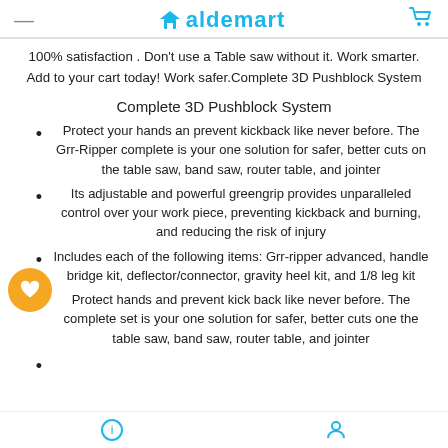Maldemart
100% satisfaction . Don't use a Table saw without it. Work smarter. Add to your cart today! Work safer.Complete 3D Pushblock System
Complete 3D Pushblock System
Protect your hands an prevent kickback like never before. The Grr-Ripper complete is your one solution for safer, better cuts on the table saw, band saw, router table, and jointer
Its adjustable and powerful greengrip provides unparalleled control over your work piece, preventing kickback and burning, and reducing the risk of injury
Includes each of the following items: Grr-ripper advanced, handle bridge kit, deflector/connector, gravity heel kit, and 1/8 leg kit
Protect hands and prevent kick back like never before. The complete set is your one solution for safer, better cuts one the table saw, band saw, router table, and jointer